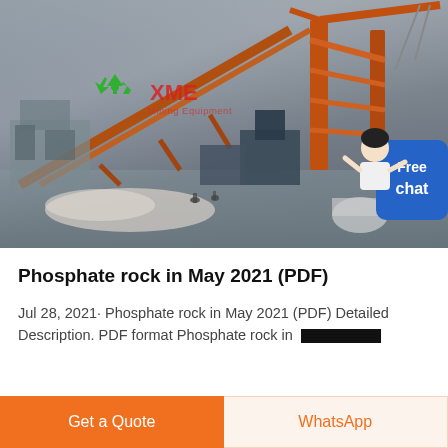[Figure (photo): Industrial mining/crushing equipment (orange cranes and conveyor structures) at a construction or mining site. XME Mining Equipment logo with green recycle icon and red text overlay. A chat assistant character and 'Free chat' blue button visible in the bottom-right corner of the image.]
Phosphate rock in May 2021 (PDF)
Jul 28, 2021· Phosphate rock in May 2021 (PDF) Detailed Description. PDF format Phosphate rock in 2021 (...)
Get a Quote
WhatsApp